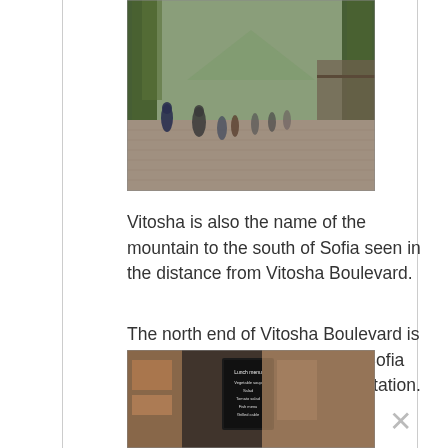[Figure (photo): Street-level view of Vitosha Boulevard in Sofia, a wide pedestrian boulevard lined with tall trees on both sides, with people walking along the paved promenade and shops/stalls visible on the sides. Mountains visible in the distance.]
Vitosha is also the name of the mountain to the south of Sofia seen in the distance from Vitosha Boulevard.
The north end of Vitosha Boulevard is at Svetla Nedleya Church and Sofia Balkan Hotel at Serdika Metro station.
[Figure (photo): Street-level photo of a cafe or restaurant on Vitosha Boulevard, showing a chalkboard menu sign (lunch menu visible), outdoor seating, and storefronts with merchandise.]